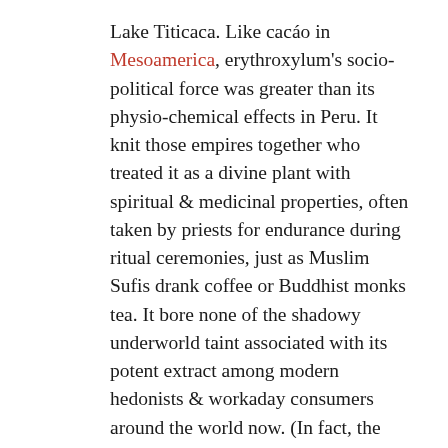Lake Titicaca. Like cacáo in Mesoamerica, erythroxylum's socio-political force was greater than its physio-chemical effects in Peru. It knit those empires together who treated it as a divine plant with spiritual & medicinal properties, often taken by priests for endurance during ritual ceremonies, just as Muslim Sufis drank coffee or Buddhist monks tea. It bore none of the shadowy underworld taint associated with its potent extract among modern hedonists & workaday consumers around the world now. (In fact, the first aboriginal to be elected president of Bolivia, Evo Morales of Aymara descent, was a coca grower.)
Because Erythroxylum coca's stimulative effects